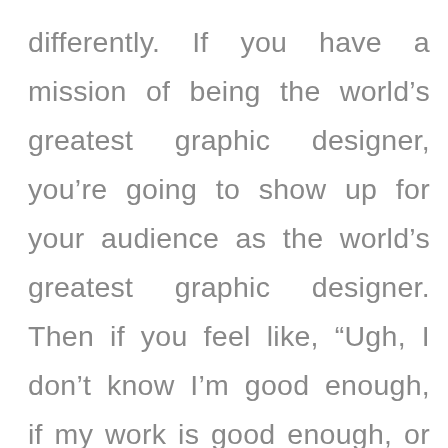differently. If you have a mission of being the world's greatest graphic designer, you're going to show up for your audience as the world's greatest graphic designer. Then if you feel like, “Ugh, I don't know I'm good enough, if my work is good enough, or if